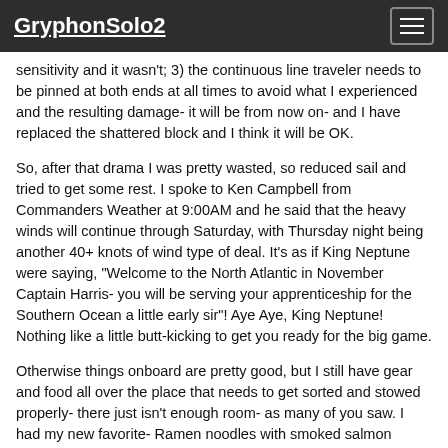GryphonSolo2
sensitivity and it wasn't; 3) the continuous line traveler needs to be pinned at both ends at all times to avoid what I experienced and the resulting damage- it will be from now on- and I have replaced the shattered block and I think it will be OK.
So, after that drama I was pretty wasted, so reduced sail and tried to get some rest. I spoke to Ken Campbell from Commanders Weather at 9:00AM and he said that the heavy winds will continue through Saturday, with Thursday night being another 40+ knots of wind type of deal. It's as if King Neptune were saying, "Welcome to the North Atlantic in November Captain Harris- you will be serving your apprenticeship for the Southern Ocean a little early sir"! Aye Aye, King Neptune! Nothing like a little butt-kicking to get you ready for the big game.
Otherwise things onboard are pretty good, but I still have gear and food all over the place that needs to get sorted and stowed properly- there just isn't enough room- as many of you saw. I had my new favorite- Ramen noodles with smoked salmon (Patagonia Provisions) for lunch